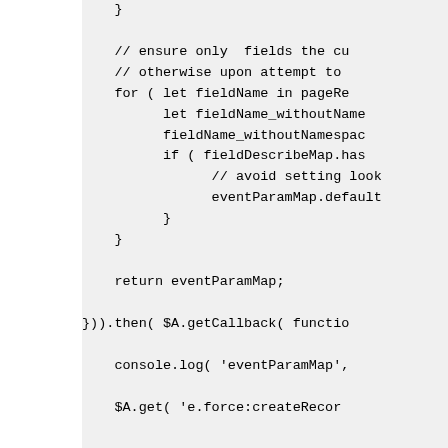[Figure (screenshot): Code snippet showing JavaScript code with a for-loop iterating over pageRe fields, fieldName_withoutNamespace variable, fieldDescribeMap.has check, eventParamMap.default assignment, return eventParamMap, followed by .then($A.getCallback(functio...) and console.log('eventParamMap', ...) and $A.get('e.force:createRecor...]